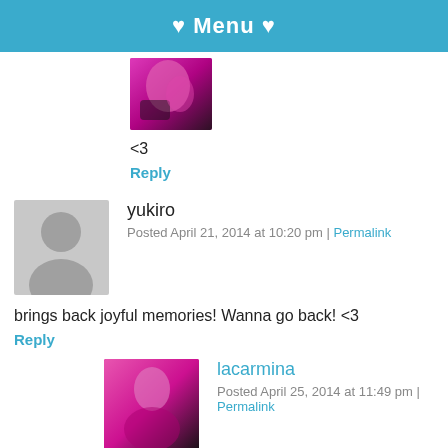♥ Menu ♥
[Figure (photo): Partial avatar photo of a person with pink/magenta hair]
<3
Reply
[Figure (photo): Gray placeholder avatar silhouette]
yukiro
Posted April 21, 2014 at 10:20 pm | Permalink
brings back joyful memories! Wanna go back! <3
Reply
[Figure (photo): Avatar photo of lacarmina with pink hair]
lacarmina
Posted April 25, 2014 at 11:49 pm | Permalink
[Figure (infographic): Social media icons: Facebook, Twitter, Pinterest, LinkedIn]